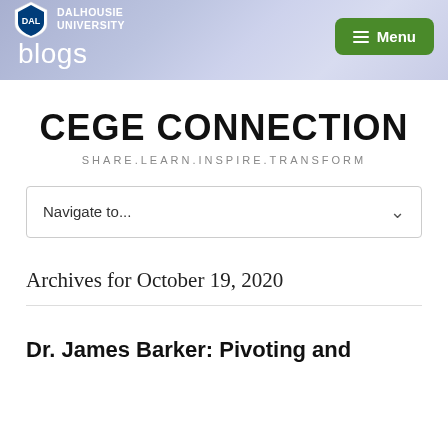DALHOUSIE UNIVERSITY blogs Menu
CEGE CONNECTION
SHARE.LEARN.INSPIRE.TRANSFORM
Navigate to...
Archives for October 19, 2020
Dr. James Barker: Pivoting and